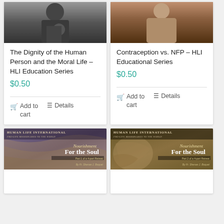[Figure (photo): Book cover photo - hands/person, dark background, top portion of product card]
The Dignity of the Human Person and the Moral Life – HLI Education Series
$0.50
Add to cart
Details
[Figure (photo): Book cover photo - person in white shirt, brown background, top portion of product card]
Contraception vs. NFP – HLI Educational Series
$0.50
Add to cart
Details
[Figure (illustration): Human Life International book cover - Nourishment For the Soul Part 1 of a 4-part Retreat, By Fr. Shenan J. Boquet, purple/brown tones with draped fabric]
[Figure (illustration): Human Life International book cover - Nourishment For the Soul Part 2 of a 4-part Retreat, By Fr. Shenan J. Boquet, olive/brown tones with hands clasped]